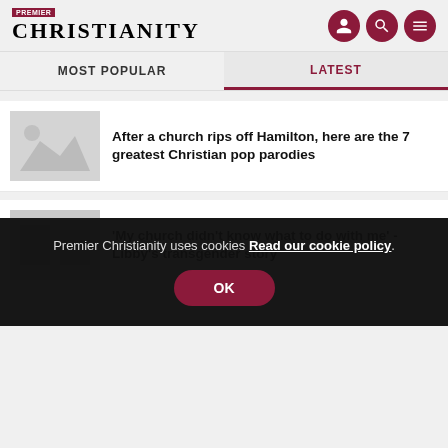Premier Christianity
MOST POPULAR
LATEST
After a church rips off Hamilton, here are the 7 greatest Christian pop parodies
'My church didn't know what to do with me' - Libby's transgender story
Premier Christianity uses cookies Read our cookie policy. OK
Salvation, healing, and life-changing